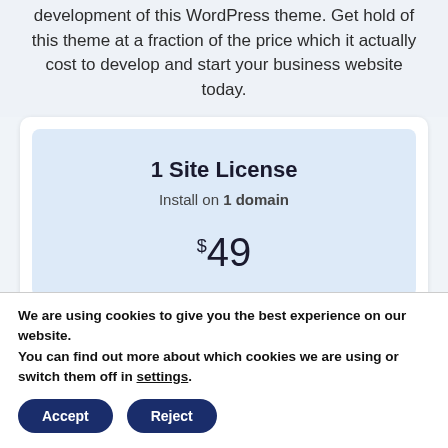development of this WordPress theme. Get hold of this theme at a fraction of the price which it actually cost to develop and start your business website today.
1 Site License
Install on 1 domain
$49
We are using cookies to give you the best experience on our website.
You can find out more about which cookies we are using or switch them off in settings.
Accept
Reject